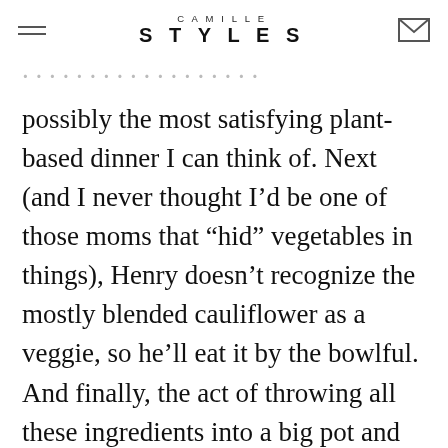CAMILLE STYLES
possibly the most satisfying plant-based dinner I can think of. Next (and I never thought I’d be one of those moms that “hid” vegetables in things), Henry doesn’t recognize the mostly blended cauliflower as a veggie, so he’ll eat it by the bowlful. And finally, the act of throwing all these ingredients into a big pot and then letting them cook down low and slow is bizarrely therapeutic for me at the end of a long workday. Now that you’re sold, keep
scrolling for the recipe...